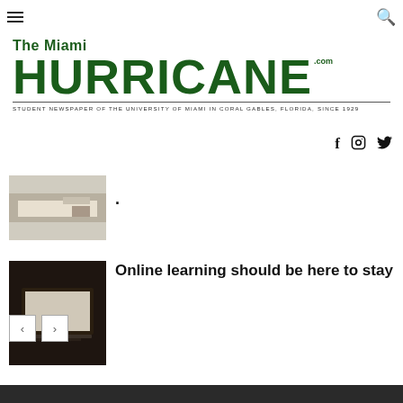The Miami Hurricane .com — STUDENT NEWSPAPER OF THE UNIVERSITY OF MIAMI IN CORAL GABLES, FLORIDA, SINCE 1929
[Figure (logo): The Miami Hurricane .com logo in dark green with tagline: STUDENT NEWSPAPER OF THE UNIVERSITY OF MIAMI IN CORAL GABLES, FLORIDA, SINCE 1929]
[Figure (illustration): Partial/cropped thumbnail image of article above]
[Figure (photo): Thumbnail of laptop on dark table for 'Online learning should be here to stay' article]
Online learning should be here to stay